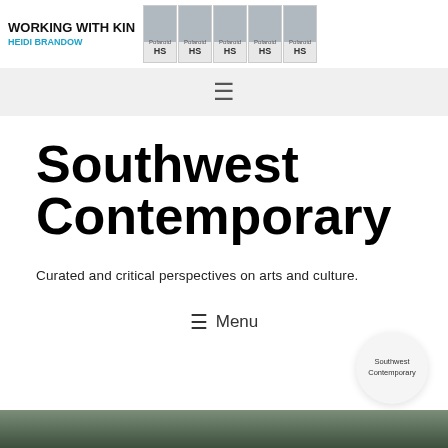WORKING WITH KIN HEIDI BRANDOW — Polaroid HS (repeated)
[Figure (screenshot): Navigation bar with hamburger menu icon on light grey background]
Southwest Contemporary
Curated and critical perspectives on arts and culture.
☰ Menu
[Figure (logo): Southwest Contemporary circular logo badge]
[Figure (photo): Dark green/teal photo strip at bottom of page]